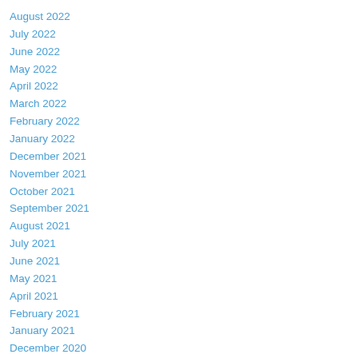August 2022
July 2022
June 2022
May 2022
April 2022
March 2022
February 2022
January 2022
December 2021
November 2021
October 2021
September 2021
August 2021
July 2021
June 2021
May 2021
April 2021
February 2021
January 2021
December 2020